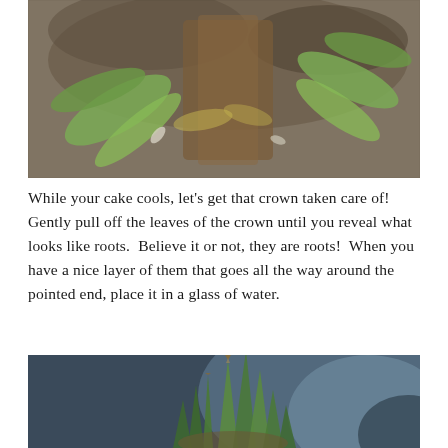[Figure (photo): Close-up photo of pineapple crown leaves being peeled back, showing green leaves and brown fibrous base against earthy background]
While your cake cools, let's get that crown taken care of!  Gently pull off the leaves of the crown until you reveal what looks like roots.  Believe it or not, they are roots!  When you have a nice layer of them that goes all the way around the pointed end, place it in a glass of water.
[Figure (photo): Close-up photo of a pineapple crown with green spiky leaves against a dark blue-grey background]